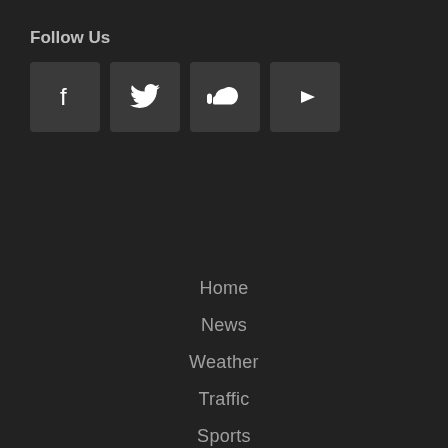Follow Us
[Figure (illustration): Four social media icon buttons: Facebook (f), Twitter (bird), SoundCloud (cloud), YouTube (play button), displayed as dark square buttons]
Home
News
Weather
Traffic
Sports
Shows
Podcasts
Features
Careers